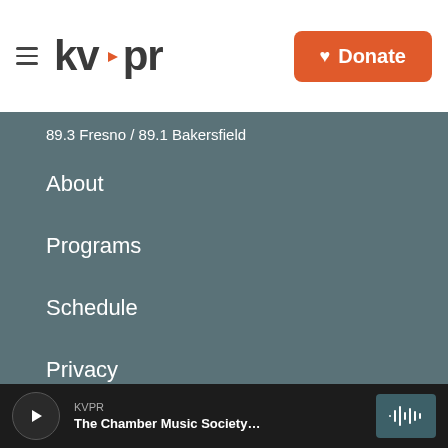kvpr
89.3 Fresno / 89.1 Bakersfield
About
Programs
Schedule
Privacy
Contact
Staff
Support
Sponsorship
KVPR — The Chamber Music Society...